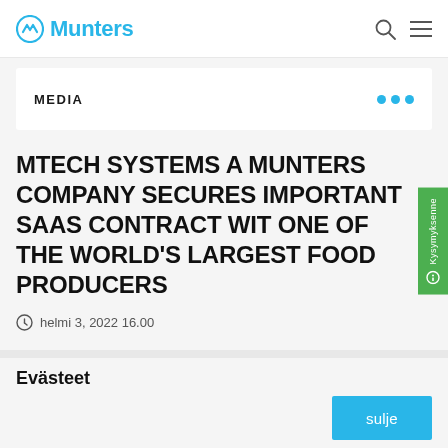Munters
MEDIA
MTECH SYSTEMS A MUNTERS COMPANY SECURES IMPORTANT SAAS CONTRACT WITH ONE OF THE WORLD'S LARGEST FOOD PRODUCERS
helmi 3, 2022 16.00
Evästeet
sulje